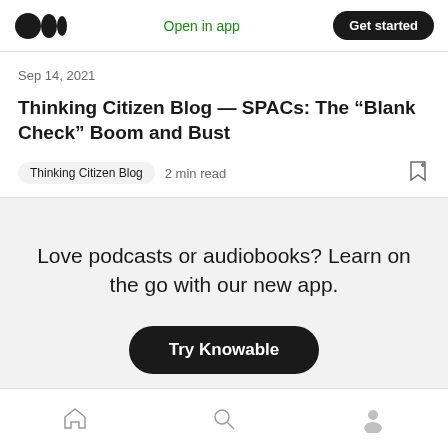Medium logo | Open in app | Get started
Sep 14, 2021
Thinking Citizen Blog — SPACs: The “Blank Check” Boom and Bust
Thinking Citizen Blog   2 min read
Love podcasts or audiobooks? Learn on the go with our new app.
Try Knowable
Home | Search | Profile